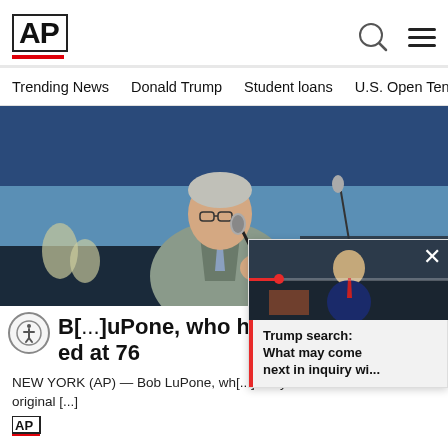[Figure (logo): AP (Associated Press) logo in bold black text with red underline bar]
Trending News   Donald Trump   Student loans   U.S. Open Tenn
[Figure (photo): Man in grey suit speaking at microphone at a podium, blue background, flowers visible]
B[...]uPone, who helped lea[...] ed at 76
NEW YORK (AP) — Bob LuPone, wh[...] Tony Award nomination in the original [...]
[Figure (screenshot): Small video thumbnail popup showing Donald Trump with red progress bar and close X button, with text: Trump search: What may come next in inquiry wi...]